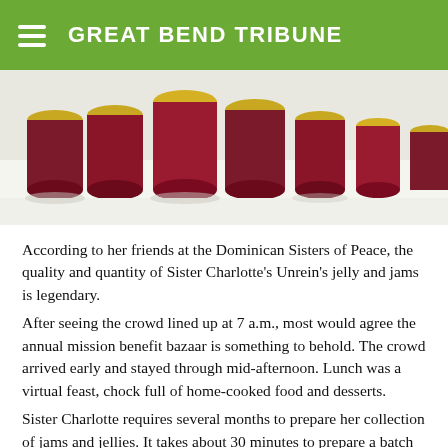GREAT BEND TRIBUNE
[Figure (photo): Jars of jelly and jam with gold lids arranged on a white surface, showing various dark red and purple preserves.]
According to her friends at the Dominican Sisters of Peace, the quality and quantity of Sister Charlotte's Unrein's jelly and jams is legendary.
After seeing the crowd lined up at 7 a.m., most would agree the annual mission benefit bazaar is something to behold. The crowd arrived early and stayed through mid-afternoon. Lunch was a virtual feast, chock full of home-cooked food and desserts.
Sister Charlotte requires several months to prepare her collection of jams and jellies. It takes about 30 minutes to prepare a batch of jelly. But she prepares dozens and dozens of jars. The Schoenchen native has been immersed in church work for 67 years and worked as a nurse in Garden City.